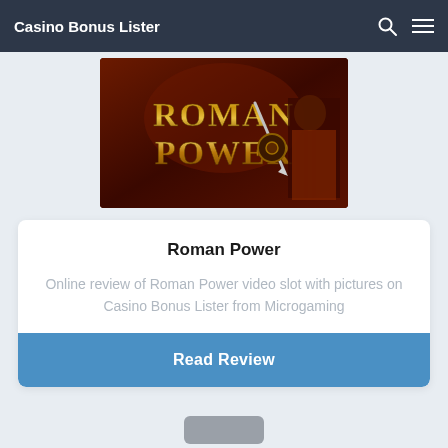Casino Bonus Lister
[Figure (screenshot): Roman Power slot game banner image with golden text on dark red/brown background with Roman warrior figure]
Roman Power
Online review of Roman Power video slot with pictures on Casino Bonus Lister from Microgaming
Read Review